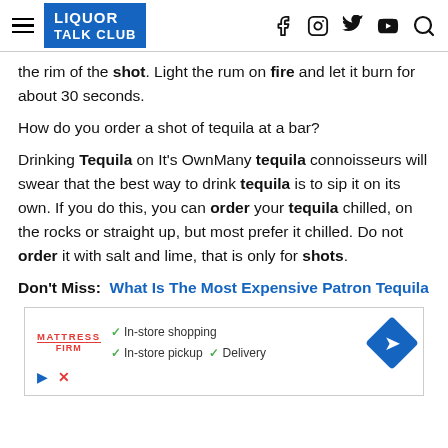LIQUOR TALK CLUB
the rim of the shot. Light the rum on fire and let it burn for about 30 seconds.
How do you order a shot of tequila at a bar?
Drinking Tequila on It’s OwnMany tequila connoisseurs will swear that the best way to drink tequila is to sip it on its own. If you do this, you can order your tequila chilled, on the rocks or straight up, but most prefer it chilled. Do not order it with salt and lime, that is only for shots.
Don’t Miss: What Is The Most Expensive Patron Tequila
[Figure (other): Mattress Firm advertisement showing in-store shopping, in-store pickup, and delivery options with a blue direction sign icon]